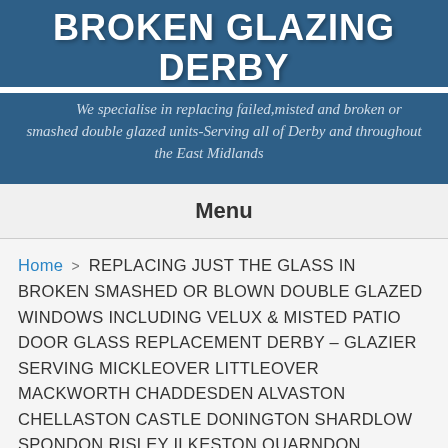BROKEN GLAZING DERBY
We specialise in replacing failed,misted and broken or smashed double glazed units-Serving all of Derby and throughout the East Midlands
Menu
Home > REPLACING JUST THE GLASS IN BROKEN SMASHED OR BLOWN DOUBLE GLAZED WINDOWS INCLUDING VELUX & MISTED PATIO DOOR GLASS REPLACEMENT DERBY – GLAZIER SERVING MICKLEOVER LITTLEOVER MACKWORTH CHADDESDEN ALVASTON CHELLASTON CASTLE DONINGTON SHARDLOW SPONDON RISLEY ILKESTON QUARNDON DUFFIELD ALLESTREE DRAYCOTT BORROWASH BREASTON REPTON